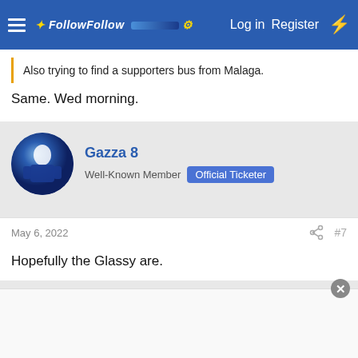FollowFollow — Log in  Register
Also trying to find a supporters bus from Malaga.
Same. Wed morning.
Gazza 8 — Well-Known Member — Official Ticketer
May 6, 2022  #7
Hopefully the Glassy are.